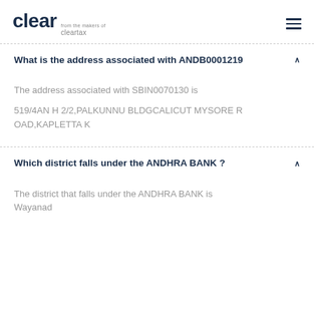clear from the makers of cleartax
What is the address associated with ANDB0001219 ^
The address associated with SBIN0070130 is
519/4AN H 2/2,PALKUNNU BLDGCALICUT MYSORE ROAD,KAPLETTA K
Which district falls under the ANDHRA BANK ? ^
The district that falls under the ANDHRA BANK is Wayanad